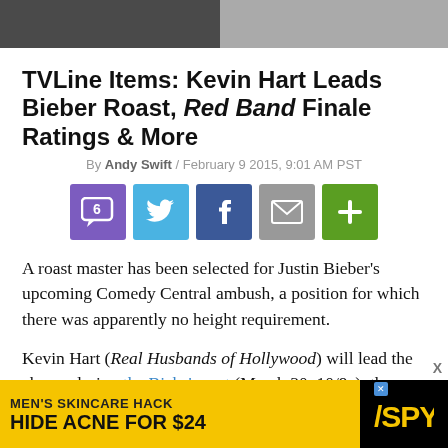[Figure (photo): Top photo strip showing partial images of people]
TVLine Items: Kevin Hart Leads Bieber Roast, Red Band Finale Ratings & More
By Andy Swift / February 9 2015, 9:01 AM PST
[Figure (infographic): Social sharing buttons: comment (6), Twitter, Facebook, email, plus]
A roast master has been selected for Justin Bieber's upcoming Comedy Central ambush, a position for which there was apparently no height requirement.
Kevin Hart (Real Husbands of Hollywood) will lead the charge during the Biebs' roast (March 30, 10/9c), the network announced Monday.
“I don’t normally do roasts, but I had to step out for my
[Figure (infographic): Advertisement banner: MEN'S SKINCARE HACK HIDE ACNE FOR $24 with SPY logo]